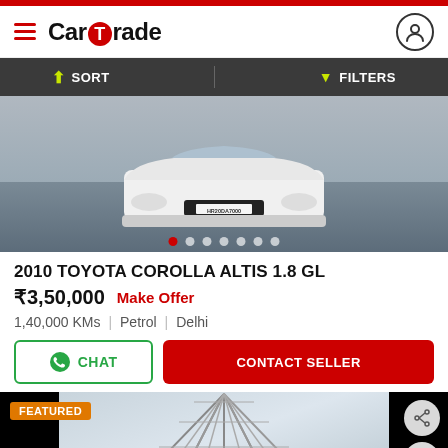CarTrade
SORT   FILTERS
[Figure (photo): Front view of a white Toyota Corolla Altis with license plate HR20DA7000, parked on a road. Image carousel with 7 dots, first dot active (red).]
2010 TOYOTA COROLLA ALTIS 1.8 GL
₹3,50,000  Make Offer
1,40,000 KMs  |  Petrol  |  Delhi
CHAT   CONTACT SELLER
[Figure (photo): Bottom section showing a featured car listing with a geometric structure/building image in the center, FEATURED badge on the left, and share/heart action icons on the right with a scroll-to-top arrow.]